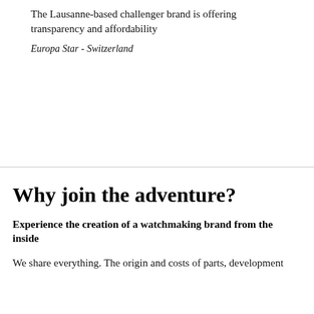The Lausanne-based challenger brand is offering transparency and affordability
Europa Star - Switzerland
Why join the adventure?
Experience the creation of a watchmaking brand from the inside
We share everything. The origin and costs of parts, development